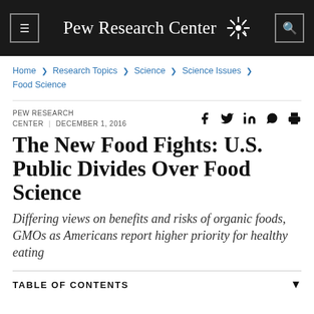Pew Research Center
Home > Research Topics > Science > Science Issues > Food Science
PEW RESEARCH CENTER | DECEMBER 1, 2016
The New Food Fights: U.S. Public Divides Over Food Science
Differing views on benefits and risks of organic foods, GMOs as Americans report higher priority for healthy eating
TABLE OF CONTENTS